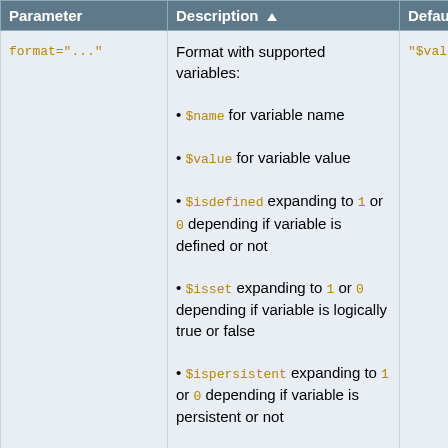| Parameter | Description | Default |
| --- | --- | --- |
| format="..." | Format with supported variables:
• $name for variable name
• $value for variable value
• $isdefined expanding to 1 or 0 depending if variable is defined or not
• $isset expanding to 1 or 0 depending if variable is logically true or false
• $ispersistent expanding to 1 or 0 depending if variable is persistent or not
• all FormatTokens such as $dollar, $n, $percnt. | "$value" |
| "name" | Name of variable. | (required) |